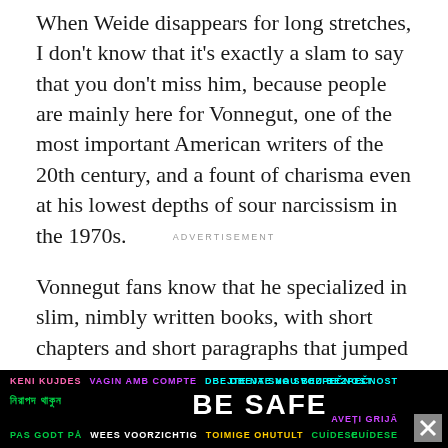When Weide disappears for long stretches, I don't know that it's exactly a slam to say that you don't miss him, because people are mainly here for Vonnegut, one of the most important American writers of the 20th century, and a fount of charisma even at his lowest depths of sour narcissism in the 1970s.
ADVERTISEMENT
Vonnegut fans know that he specialized in slim, nimbly written books, with short chapters and short paragraphs that jumped wherever Vonnegut's consciousness happened to take him. "Unstuck in Time" lets us know that it is consciously modeling
[Figure (infographic): Black advertisement banner with multilingual 'BE SAFE' safety message in colorful text including languages: Keni Kujdes (pink), Vagin amb compte (white), Dbejte na svou bezpecnost (cyan), Bengali script (green), BE SAFE (white large), Aveti grija (purple), Pas godt pa (green), Wees voorzichtig (white), Toimige ohutult (yellow), Cuidese (green). Close button (X) in grey square at bottom right.]